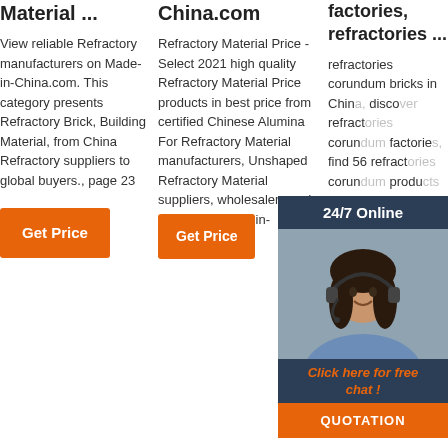Material ...
View reliable Refractory manufacturers on Made-in-China.com. This category presents Refractory Brick, Building Material, from China Refractory suppliers to global buyers., page 23
Get Price
China.com
Refractory Material Price - Select 2021 high quality Refractory Material Price products in best price from certified Chinese Alumina For Refractory Material manufacturers, Unshaped Refractory Material suppliers, wholesalers and factory on Made-in-China.com
Get Price
factories, refractories ...
refractories corundum bricks in China, discover refractories corundum factories, find 56 refractories corundum products factories by Chinacomputerparts.com.
Get Price
[Figure (photo): Customer service representative with headset, chat widget overlay with 24/7 Online header, Click here for free chat text, and QUOTATION orange button]